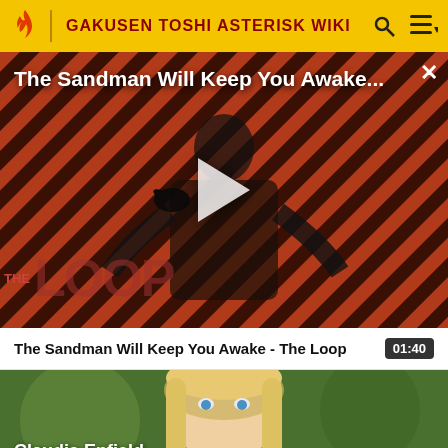GAKUSEN TOSHI ASTERISK WIKI
[Figure (screenshot): Video player showing The Sandman Will Keep You Awake - The Loop promotional image with a dark figure holding a raven, The Loop logo in the lower left, diagonal red and black striped background, white play button overlay, close button top right, and title text overlay at top.]
The Sandman Will Keep You Awake - The Loop  01:40
[Figure (screenshot): Anime thumbnail showing Claudia Enfield, a blonde female character, with text 'Claudia Enfield' in white at the bottom left.]